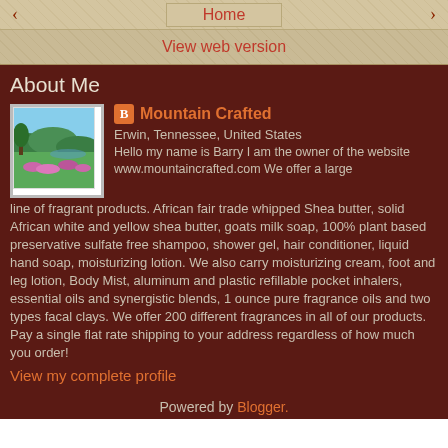< Home >
View web version
About Me
Mountain Crafted
Erwin, Tennessee, United States
Hello my name is Barry I am the owner of the website www.mountaincrafted.com We offer a large line of fragrant products. African fair trade whipped Shea butter, solid African white and yellow shea butter, goats milk soap, 100% plant based preservative sulfate free shampoo, shower gel, hair conditioner, liquid hand soap, moisturizing lotion. We also carry moisturizing cream, foot and leg lotion, Body Mist, aluminum and plastic refillable pocket inhalers, essential oils and synergistic blends, 1 ounce pure fragrance oils and two types facal clays. We offer 200 different fragrances in all of our products. Pay a single flat rate shipping to your address regardless of how much you order!
View my complete profile
Powered by Blogger.